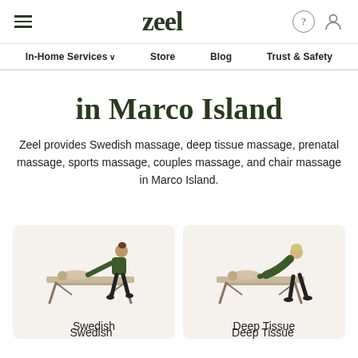zeel — In-Home Services, Store, Blog, Trust & Safety
in Marco Island
Zeel provides Swedish massage, deep tissue massage, prenatal massage, sports massage, couples massage, and chair massage in Marco Island.
[Figure (illustration): Illustration of a therapist performing Swedish massage on a client lying on a massage table]
Swedish
[Figure (illustration): Illustration of a therapist performing Deep Tissue massage on a client lying on a massage table]
Deep Tissue